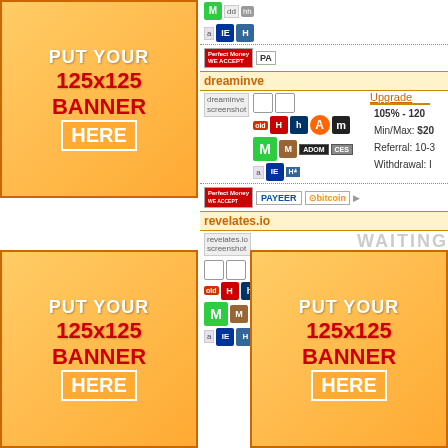[Figure (infographic): Orange banner placeholder top-left: PUT YOUR 125x125 BANNER HERE]
[Figure (infographic): Orange banner placeholder top-right: PUT YOUR 125x125 BANNER HERE]
[Figure (screenshot): Middle content area showing HYIP monitor listing with dreaminve site, payment icons (Perfect Money, Payeer, Bitcoin), stats 105%-120%, Min/Max $20, Referral 10-3%, revelates.io site with WAITING status]
[Figure (infographic): Orange banner placeholder bottom-left: PUT YOUR 125x125 BANNER HERE]
[Figure (infographic): Orange banner placeholder bottom-right: PUT YOUR 125x125 BANNER HERE]